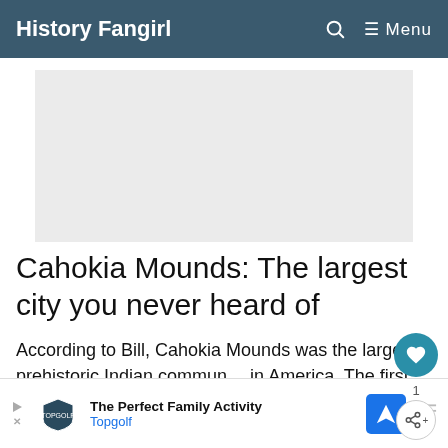History Fangirl  🔍  ≡ Menu
[Figure (other): Advertisement banner placeholder (gray rectangle)]
Cahokia Mounds: The largest city you never heard of
According to Bill, Cahokia Mounds was the largest prehistoric Indian community in America. The first signs of civilization
[Figure (other): Bottom advertisement banner: The Perfect Family Activity - Topgolf, with navigation icon]